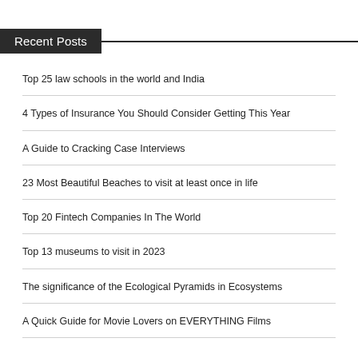Recent Posts
Top 25 law schools in the world and India
4 Types of Insurance You Should Consider Getting This Year
A Guide to Cracking Case Interviews
23 Most Beautiful Beaches to visit at least once in life
Top 20 Fintech Companies In The World
Top 13 museums to visit in 2023
The significance of the Ecological Pyramids in Ecosystems
A Quick Guide for Movie Lovers on EVERYTHING Films